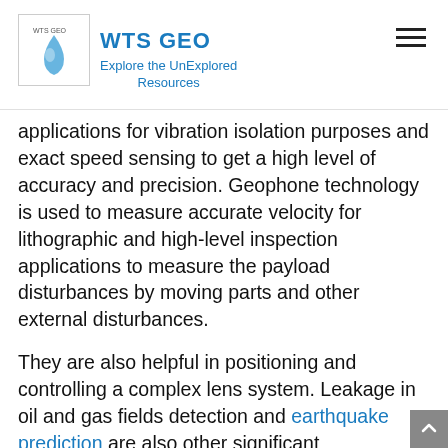WTS GEO — Explore the UnExplored Resources
applications for vibration isolation purposes and exact speed sensing to get a high level of accuracy and precision. Geophone technology is used to measure accurate velocity for lithographic and high-level inspection applications to measure the payload disturbances by moving parts and other external disturbances.
They are also helpful in positioning and controlling a complex lens system. Leakage in oil and gas fields detection and earthquake prediction are also other significant